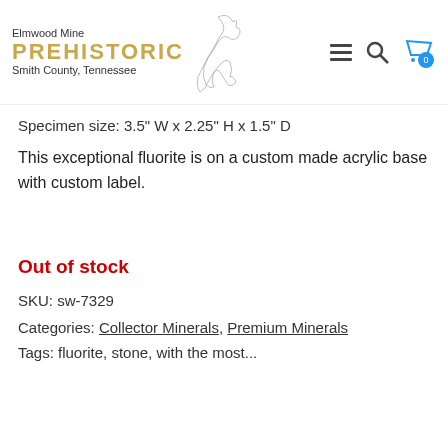Elmwood Mine PREHISTORIC Smith County, Tennessee
Specimen size: 3.5" W x 2.25" H x 1.5" D
This exceptional fluorite is on a custom made acrylic base with custom label.
Out of stock
SKU: sw-7329
Categories: Collector Minerals, Premium Minerals
Tags: fluorite, stone, with the most...